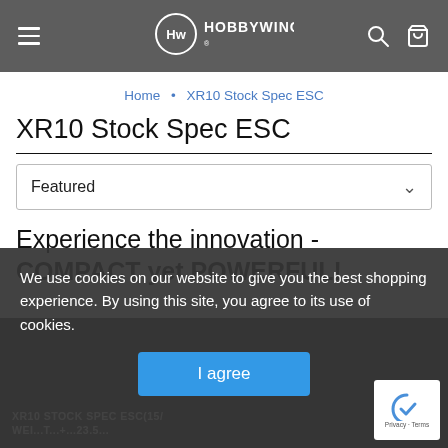HOBBYWING — navigation header with hamburger menu, logo, search and cart icons
Home • XR10 Stock Spec ESC
XR10 Stock Spec ESC
Featured
Experience the innovation -
COMPACT yet POWERFUL!
We use cookies on our website to give you the best shopping experience. By using this site, you agree to its use of cookies.
I agree
XR10 STOCK SPEC ESC(15/
Wei...t...+...23.5...